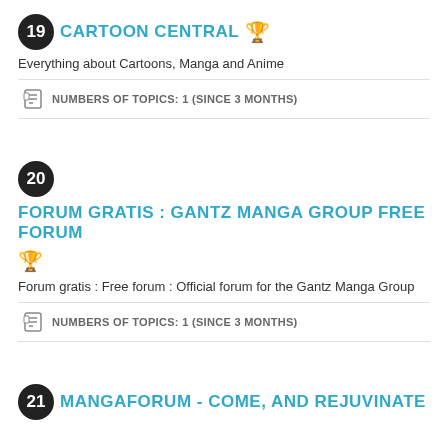19 CARTOON CENTRAL 🏆
Everything about Cartoons, Manga and Anime
NUMBERS OF TOPICS: 1 (SINCE 3 MONTHS)
20 FORUM GRATIS : GANTZ MANGA GROUP FREE FORUM 🏆
Forum gratis : Free forum : Official forum for the Gantz Manga Group
NUMBERS OF TOPICS: 1 (SINCE 3 MONTHS)
21 MANGAFORUM - COME, AND REJUVINATE